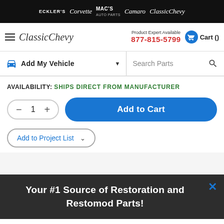ECKLER'S Corvette MAC's AUTO PARTS Camaro ClassicChevy
[Figure (screenshot): ClassicChevy logo with hamburger menu]
Product Expert Available 877-815-5799
Cart ()
Add My Vehicle
Search Parts
AVAILABILITY: SHIPS DIRECT FROM MANUFACTURER
1
Add to Cart
Add to Project List
Your #1 Source of Restoration and Restomod Parts!